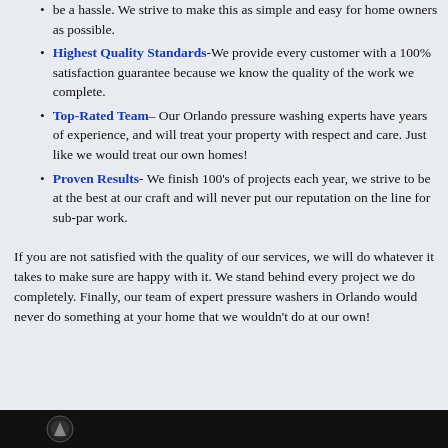be a hassle. We strive to make this as simple and easy for home owners as possible.
Highest Quality Standards-We provide every customer with a 100% satisfaction guarantee because we know the quality of the work we complete.
Top-Rated Team– Our Orlando pressure washing experts have years of experience, and will treat your property with respect and care. Just like we would treat our own homes!
Proven Results- We finish 100's of projects each year, we strive to be at the best at our craft and will never put our reputation on the line for sub-par work.
If you are not satisfied with the quality of our services, we will do whatever it takes to make sure are happy with it. We stand behind every project we do completely. Finally, our team of expert pressure washers in Orlando would never do something at your home that we wouldn't do at our own!
[Figure (photo): Dark banner at bottom of page with logo]